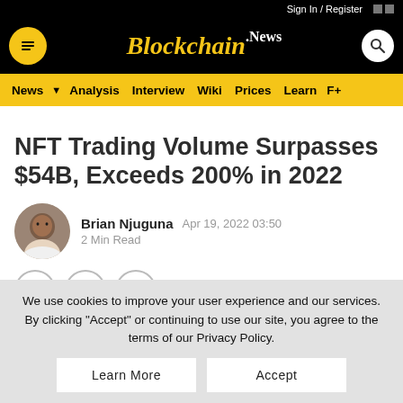Sign In / Register
[Figure (logo): Blockchain.News logo with golden text on black background]
News | Analysis | Interview | Wiki | Prices | Learn | F+
NFT Trading Volume Surpasses $54B, Exceeds 200% in 2022
Brian Njuguna   Apr 19, 2022 03:50
2 Min Read
We use cookies to improve your user experience and our services. By clicking "Accept" or continuing to use our site, you agree to the terms of our Privacy Policy.
Learn More   Accept